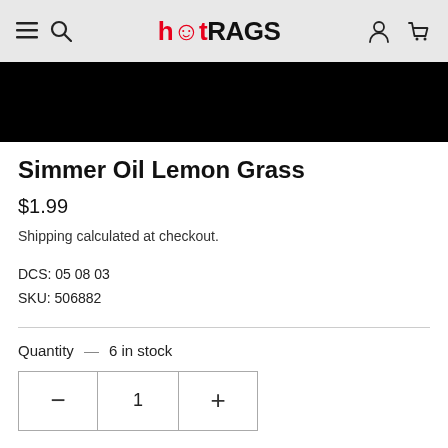hotRAGS
[Figure (screenshot): Black product image banner area]
Simmer Oil Lemon Grass
$1.99
Shipping calculated at checkout.
DCS: 05 08 03
SKU: 506882
Quantity — 6 in stock